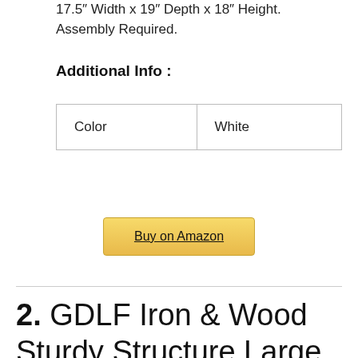17.5" Width x 19" Depth x 18" Height. Assembly Required.
Additional Info :
| Color | White |
Buy on Amazon
2. GDLF Iron & Wood Sturdy Structure Large Pet Crate Cat Washroom Hidden Cat Litter Box